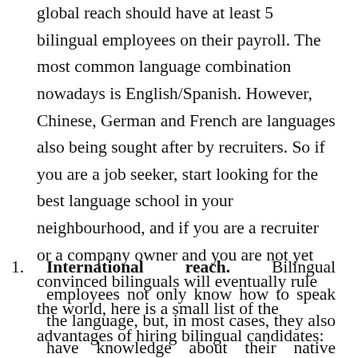global reach should have at least 5 bilingual employees on their payroll. The most common language combination nowadays is English/Spanish. However, Chinese, German and French are languages also being sought after by recruiters. So if you are a job seeker, start looking for the best language school in your neighbourhood, and if you are a recruiter or a company owner and you are not yet convinced bilinguals will eventually rule the world, here is a small list of the advantages of hiring bilingual candidates:
1. International reach. Bilingual employees not only know how to speak the language, but, in most cases, they also have knowledge about their native country's culture, which is always an advantage